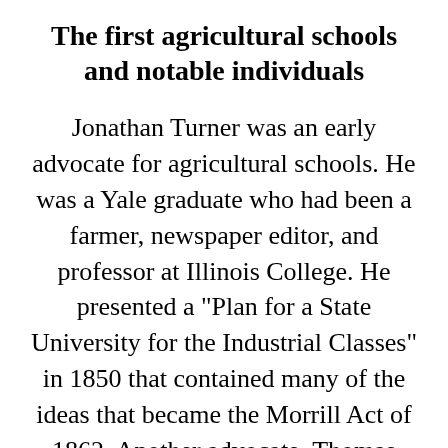The first agricultural schools and notable individuals
Jonathan Turner was an early advocate for agricultural schools. He was a Yale graduate who had been a farmer, newspaper editor, and professor at Illinois College. He presented a "Plan for a State University for the Industrial Classes" in 1850 that contained many of the ideas that became the Morrill Act of 1862. Another advocate, Thomas Clemson, promoted education in